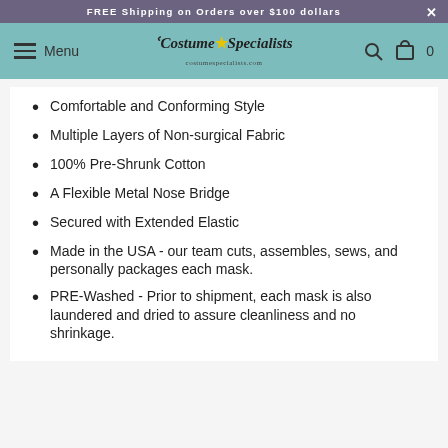FREE Shipping on Orders over $100 dollars
Menu | Costume Specialists | Search | Cart 0
Comfortable and Conforming Style
Multiple Layers of Non-surgical Fabric
100% Pre-Shrunk Cotton
A Flexible Metal Nose Bridge
Secured with Extended Elastic
Made in the USA - our team cuts, assembles, sews, and personally packages each mask.
PRE-Washed - Prior to shipment, each mask is also laundered and dried to assure cleanliness and no shrinkage.